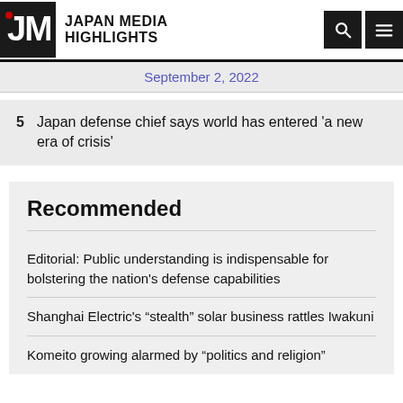JAPAN MEDIA HIGHLIGHTS
September 2, 2022
5  Japan defense chief says world has entered 'a new era of crisis'
Recommended
Editorial: Public understanding is indispensable for bolstering the nation's defense capabilities
Shanghai Electric's “stealth” solar business rattles Iwakuni
Komeito growing alarmed by “politics and religion”